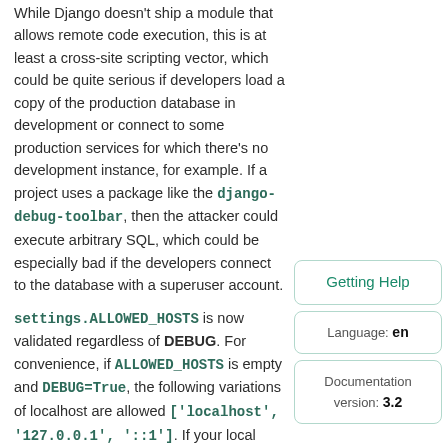While Django doesn't ship a module that allows remote code execution, this is at least a cross-site scripting vector, which could be quite serious if developers load a copy of the production database in development or connect to some production services for which there's no development instance, for example. If a project uses a package like the django-debug-toolbar, then the attacker could execute arbitrary SQL, which could be especially bad if the developers connect to the database with a superuser account.
settings.ALLOWED_HOSTS is now validated regardless of DEBUG. For convenience, if ALLOWED_HOSTS is empty and DEBUG=True, the following variations of localhost are allowed ['localhost', '127.0.0.1', '::1']. If your local settings file has your production ALLOWED_HOSTS value, you must now omit it to get those fallback values.
Getting Help
Bugfixes
Language: en
Documentation version: 3.2
Allowed User.is_authenticated and User.is_anonymous properties to be tested for set membership (#27309).